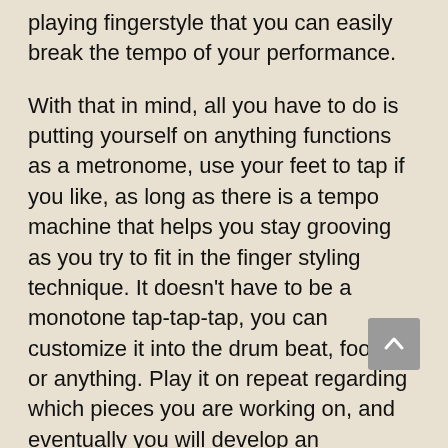playing fingerstyle that you can easily break the tempo of your performance.
With that in mind, all you have to do is putting yourself on anything functions as a metronome, use your feet to tap if you like, as long as there is a tempo machine that helps you stay grooving as you try to fit in the finger styling technique. It doesn't have to be a monotone tap-tap-tap, you can customize it into the drum beat, foot tap or anything. Play it on repeat regarding which pieces you are working on, and eventually you will develop an automated beat counting inside you.
Enhancing muscle